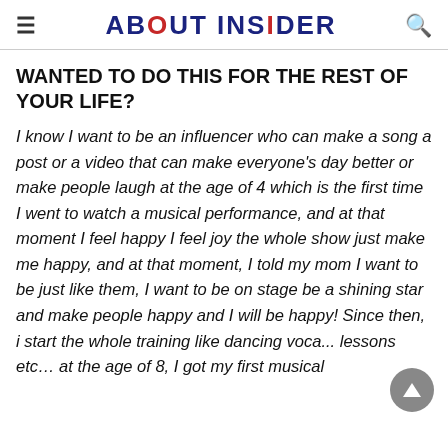ABOUT INSIDER
WANTED TO DO THIS FOR THE REST OF YOUR LIFE?
I know I want to be an influencer who can make a song a post or a video that can make everyone's day better or make people laugh at the age of 4 which is the first time I went to watch a musical performance, and at that moment I feel happy I feel joy the whole show just make me happy, and at that moment, I told my mom I want to be just like them, I want to be on stage be a shining star and make people happy and I will be happy! Since then, i start the whole training like dancing voca... lessons etc… at the age of 8, I got my first musical